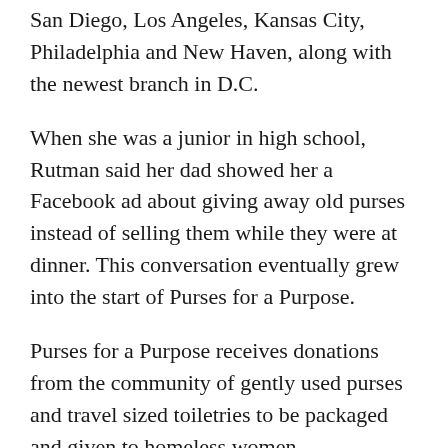San Diego, Los Angeles, Kansas City, Philadelphia and New Haven, along with the newest branch in D.C.
When she was a junior in high school, Rutman said her dad showed her a Facebook ad about giving away old purses instead of selling them while they were at dinner. This conversation eventually grew into the start of Purses for a Purpose.
Purses for a Purpose receives donations from the community of gently used purses and travel sized toiletries to be packaged and given to homeless women.
“We’re…